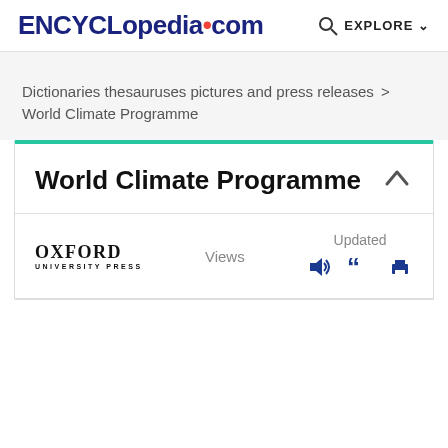ENCYCLopedia•com   🔍 EXPLORE ∨
Dictionaries thesauruses pictures and press releases ›
World Climate Programme
World Climate Programme
OXFORD UNIVERSITY PRESS   Views   Updated